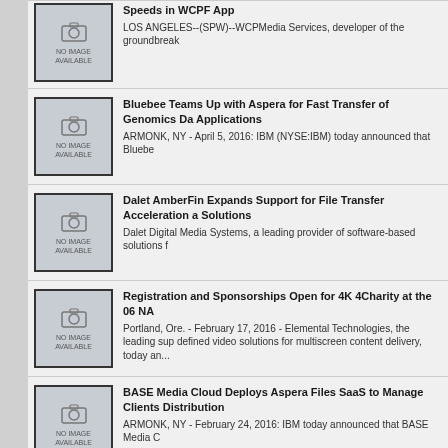[Figure (screenshot): News item thumbnail - no image available placeholder with camera icon]
Speeds in WCPF App
LOS ANGELES--(SPW)--WCPMedia Services, developer of the groundbreak
[Figure (screenshot): News item thumbnail - no image available placeholder with camera icon]
Bluebee Teams Up with Aspera for Fast Transfer of Genomics Data Applications
ARMONK, NY - April 5, 2016: IBM (NYSE:IBM) today announced that Bluebe
[Figure (screenshot): News item thumbnail - no image available placeholder with camera icon]
Dalet AmberFin Expands Support for File Transfer Acceleration a Solutions
Dalet Digital Media Systems, a leading provider of software-based solutions f
[Figure (screenshot): News item thumbnail - no image available placeholder with camera icon]
Registration and Sponsorships Open for 4K 4Charity at the 06 NA
Portland, Ore. - February 17, 2016 - Elemental Technologies, the leading sup defined video solutions for multiscreen content delivery, today an...
[Figure (screenshot): News item thumbnail - no image available placeholder with camera icon]
BASE Media Cloud Deploys Aspera Files SaaS to Manage Clients Distribution
ARMONK, NY - February 24, 2016: IBM today announced that BASE Media C
[Figure (screenshot): News item thumbnail - no image available placeholder with camera icon]
Smoke & Mirrors Deploys Aspera for High-speed, Secure and Effi Media between Global Sites
ARMONK, N.Y., Feb. 23, 2016 (GLOBE NEWSWIRE) -- IBM today announce
VIEW MOST RECENT HEADLINES